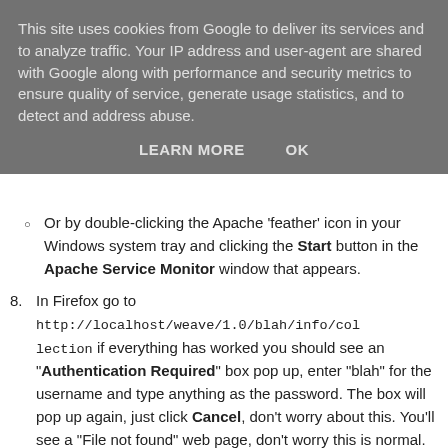This site uses cookies from Google to deliver its services and to analyze traffic. Your IP address and user-agent are shared with Google along with performance and security metrics to ensure quality of service, generate usage statistics, and to detect and address abuse.
LEARN MORE   OK
Or by double-clicking the Apache 'feather' icon in your Windows system tray and clicking the Start button in the Apache Service Monitor window that appears.
In Firefox go to http://localhost/weave/1.0/blah/info/collection if everything has worked you should see an "Authentication Required" box pop up, enter "blah" for the username and type anything as the password. The box will pop up again, just click Cancel, don't worry about this. You'll see a "File not found" web page, don't worry this is normal. Now if you go to the weave_minimal folder that you created earlier you